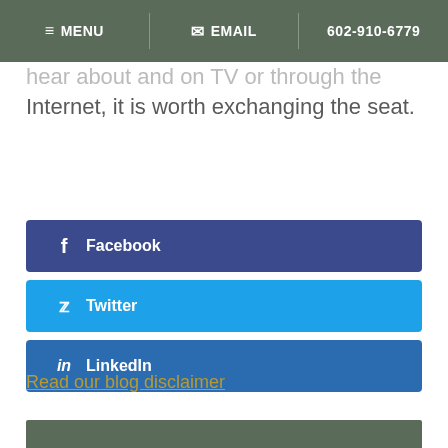MENU  EMAIL  602-910-6779
hear about and on TV or through the Internet, it is worth exchanging the seat.
[Figure (screenshot): Social share buttons for Facebook, Twitter, and LinkedIn]
Read our blog disclaimer